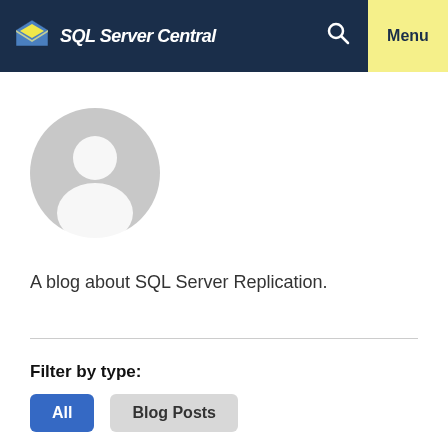SQL Server Central  Menu
[Figure (illustration): Generic user avatar - gray circle with white silhouette person icon]
A blog about SQL Server Replication.
Filter by type:
All
Blog Posts